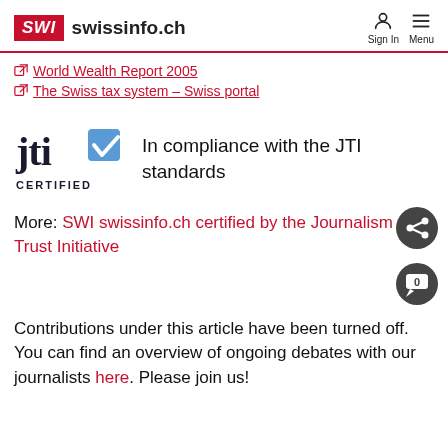SWI swissinfo.ch — Sign In — Menu
World Wealth Report 2005
The Swiss tax system – Swiss portal
[Figure (logo): JTI Certified logo with checkmark]
In compliance with the JTI standards
More: SWI swissinfo.ch certified by the Journalism Trust Initiative
Contributions under this article have been turned off. You can find an overview of ongoing debates with our journalists here. Please join us!